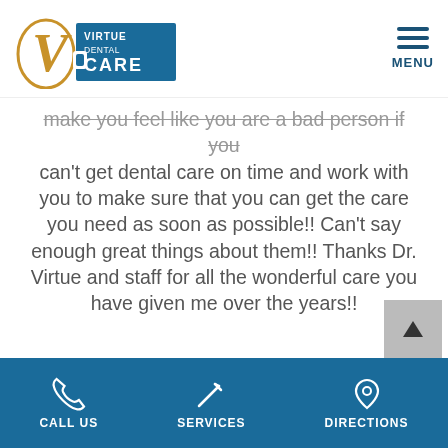Virtue Dental Care | MENU
make you feel like you are a bad person if you can't get dental care on time and work with you to make sure that you can get the care you need as soon as possible!! Can't say enough great things about them!! Thanks Dr. Virtue and staff for all the wonderful care you have given me over the years!!
Originally Posted On Google
We use cookies to enhance your experience. By continuing to use our website, you consent to our use of cookies.
Got It
CALL US | SERVICES | DIRECTIONS